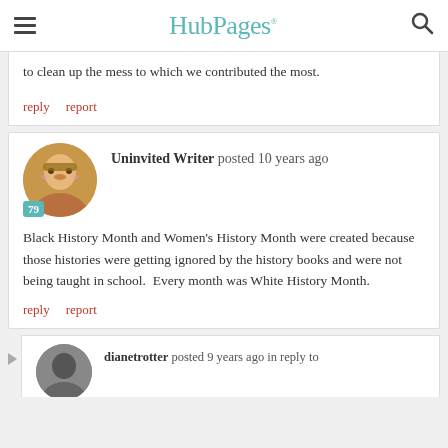HubPages
to clean up the mess to which we contributed the most.
reply   report
Uninvited Writer posted 10 years ago
Black History Month and Women's History Month were created because those histories were getting ignored by the history books and were not being taught in school.  Every month was White History Month.
reply   report
dianetrotter posted 9 years ago in reply to